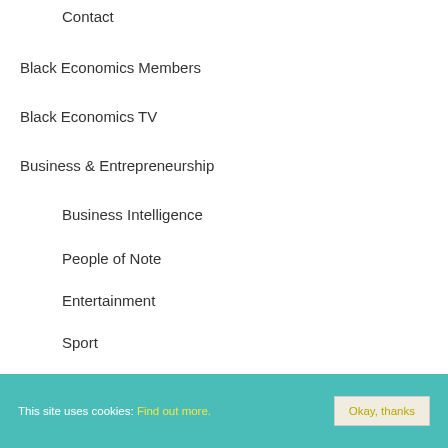Contact
Black Economics Members
Black Economics TV
Business & Entrepreneurship
Business Intelligence
People of Note
Entertainment
Sport
Technology
Manufacturing
Business Directory
Black Business Directory – Add a Business
Black Wealth
This site uses cookies: Find out more. Okay, thanks